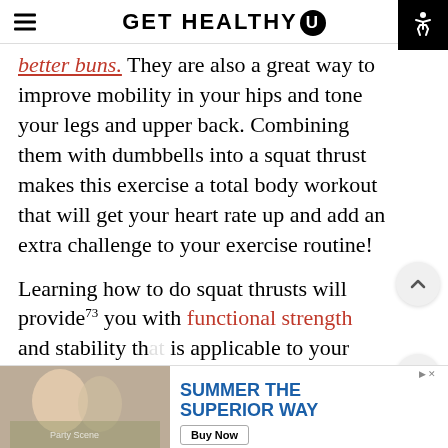GET HEALTHY U
better buns. They are also a great way to improve mobility in your hips and tone your legs and upper back. Combining them with dumbbells into a squat thrust makes this exercise a total body workout that will get your heart rate up and add an extra challenge to your exercise routine!
Learning how to do squat thrusts will provide you with functional strength and stability that is applicable to your everyday life. You need the muscles in your glutes, legs and hips to help you out of a chair or pick up something from the floor. prevent injury! So why not give them a try?